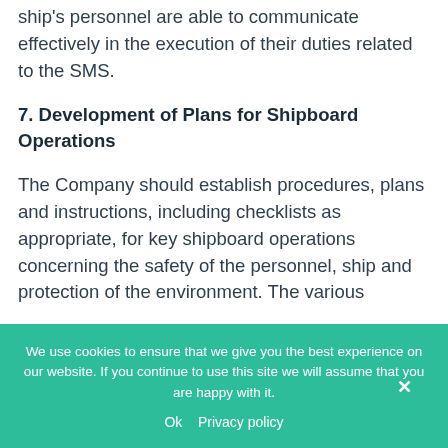ship's personnel are able to communicate effectively in the execution of their duties related to the SMS.
7. Development of Plans for Shipboard Operations
The Company should establish procedures, plans and instructions, including checklists as appropriate, for key shipboard operations concerning the safety of the personnel, ship and protection of the environment. The various
We use cookies to ensure that we give you the best experience on our website. If you continue to use this site we will assume that you are happy with it.
Ok   Privacy policy